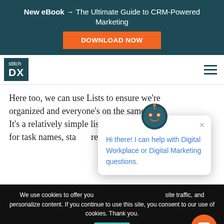New eBook → The Ultimate Guide to CRM-Powered Marketing
DOWNLOAD NOW
[Figure (logo): Stitch DX logo with dark teal background]
Here too, we can use Lists to ensure we're organized and everyone's on the same page. It's a relatively simple list here with columns for task names, sta... responsible.
[Figure (screenshot): Chat popup with robot mascot avatar and message: Hi there! I can help with Digital Workplace or Digital Marketing questions.]
We use cookies to offer you... site traffic, and personalize content. If you continue to use this site, you consent to our use of cookies. Thank you.
OK